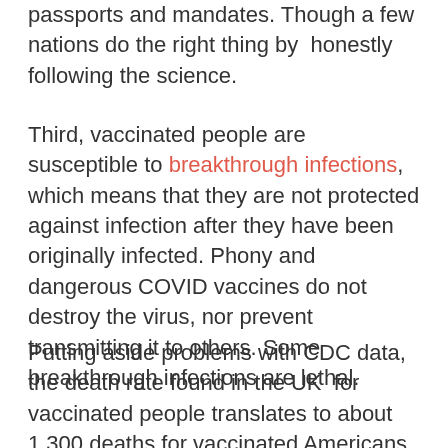passports and mandates. Though a few nations do the right thing by  honestly following the science.
Third, vaccinated people are susceptible to breakthrough infections, which means that they are not protected against infection after they have been originally infected. Phony and dangerous COVID vaccines do not destroy the virus, nor prevent transmitting it to others. Some breakthrough infections are lethal.
Putting aside problems with CDC data, the death rate found in the UK  for vaccinated people translates to about 1,300 deaths for vaccinated Americans. Indeed, an August report